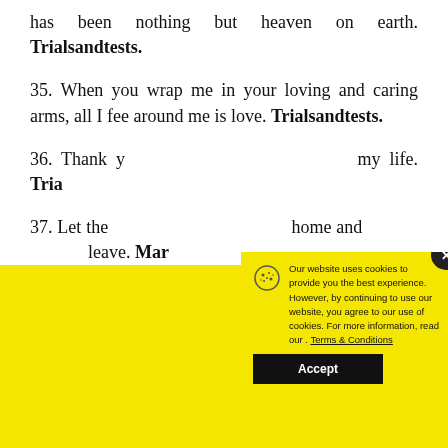has been nothing but heaven on earth. Trialsandtests.
35. When you wrap me in your loving and caring arms, all I fee around me is love. Trialsandtests.
36. Thank you for being the sunshine of my life. Tria[lsandtests.]
37. Let the [world know you are my] home and [I never want to] leave. Mar[ialsandtests.]
[Figure (screenshot): Cookie consent popup overlay with yellow background. Contains cookie icon, text about website cookies policy, Terms & Conditions link, and Accept button. Has a close X button in top right corner.]
[Figure (screenshot): Advertisement area at bottom with a chef/cook icon and ad controls (play and close icons).]